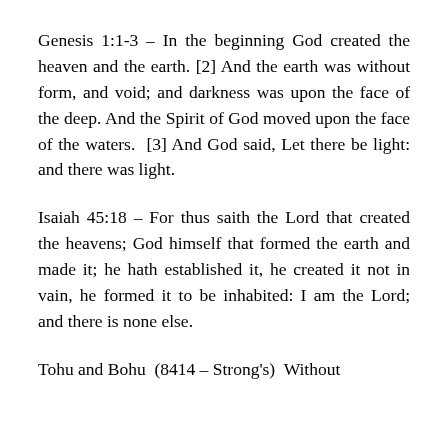Genesis 1:1-3 – In the beginning God created the heaven and the earth. [2] And the earth was without form, and void; and darkness was upon the face of the deep. And the Spirit of God moved upon the face of the waters. [3] And God said, Let there be light: and there was light.
Isaiah 45:18 – For thus saith the Lord that created the heavens; God himself that formed the earth and made it; he hath established it, he created it not in vain, he formed it to be inhabited: I am the Lord; and there is none else.
Tohu and Bohu  (8414 – Strong's)  Without